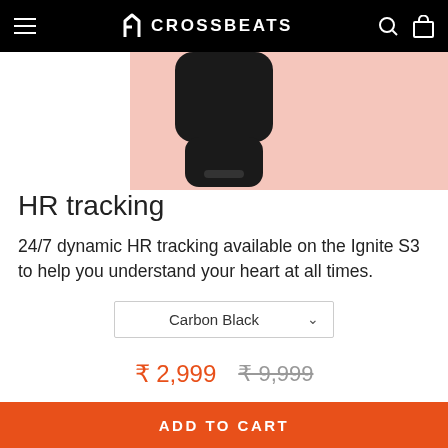CROSSBEATS
[Figure (photo): Black smartwatch/earbuds charging case partially visible against a pink/salmon background]
HR tracking
24/7 dynamic HR tracking available on the Ignite S3 to help you understand your heart at all times.
Carbon Black
₹ 2,999   ₹ 9,999
ADD TO CART